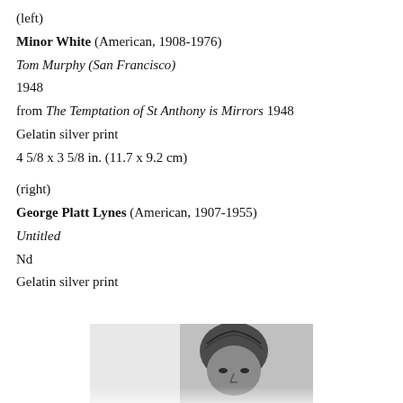(left)
Minor White (American, 1908-1976)
Tom Murphy (San Francisco)
1948
from The Temptation of St Anthony is Mirrors 1948
Gelatin silver print
4 5/8 x 3 5/8 in. (11.7 x 9.2 cm)
(right)
George Platt Lynes (American, 1907-1955)
Untitled
Nd
Gelatin silver print
[Figure (photo): Partial view of a black and white portrait photograph showing the upper portion of a person's face and hair against a light background.]